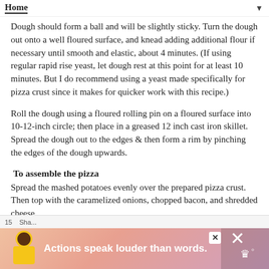Dough should form a ball and will be slightly sticky. Turn the dough out onto a well floured surface, and knead adding additional flour if necessary until smooth and elastic, about 4 minutes. (If using regular rapid rise yeast, let dough rest at this point for at least 10 minutes. But I do recommend using a yeast made specifically for pizza crust since it makes for quicker work with this recipe.)
Roll the dough using a floured rolling pin on a floured surface into 10-12-inch circle; then place in a greased 12 inch cast iron skillet. Spread the dough out to the edges & then form a rim by pinching the edges of the dough upwards.
To assemble the pizza
Spread the mashed potatoes evenly over the prepared pizza crust. Then top with the caramelized onions, chopped bacon, and shredded cheese.
Bake at 425 for 15-20 minutes or until the crust is golden brown and the cheese is melted.
Let the pizza rest at least 10 minutes before cutting.
[Figure (other): Advertisement banner at the bottom of the page showing a person with text 'Actions speak louder than words.' on a colorful background. Partially visible page controls (share, numbers) and close/X buttons visible.]